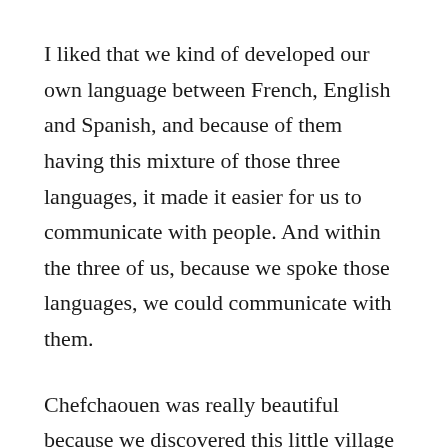I liked that we kind of developed our own language between French, English and Spanish, and because of them having this mixture of those three languages, it made it easier for us to communicate with people. And within the three of us, because we spoke those languages, we could communicate with them.
Chefchaouen was really beautiful because we discovered this little village in the mountains, and the views there were really beautiful, and the energy was really nice. We managed to escape and make a trip to the mountains to the